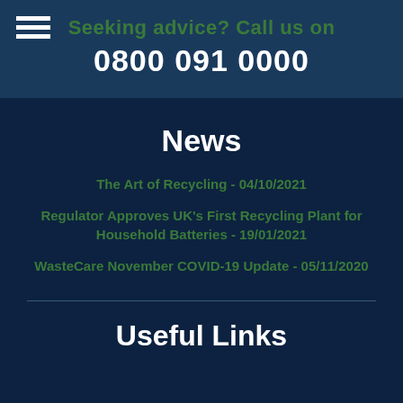Seeking advice? Call us on 0800 091 0000
News
The Art of Recycling - 04/10/2021
Regulator Approves UK's First Recycling Plant for Household Batteries - 19/01/2021
WasteCare November COVID-19 Update - 05/11/2020
Useful Links